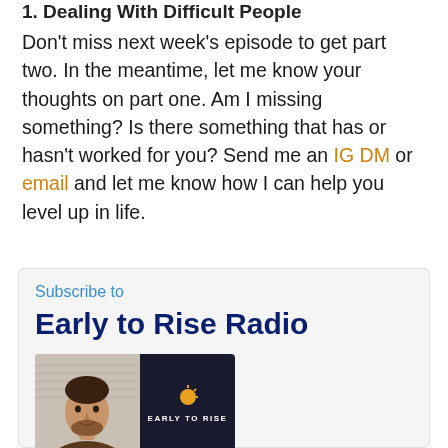1. Dealing With Difficult People
Don't miss next week's episode to get part two. In the meantime, let me know your thoughts on part one. Am I missing something? Is there something that has or hasn't worked for you? Send me an IG DM or email and let me know how I can help you level up in life.
Subscribe to Early to Rise Radio
[Figure (photo): Early to Rise Radio podcast logo/banner showing a man's face on the left half and a dark panel with a sun icon and 'EARLY TO RISE' text on the right half]